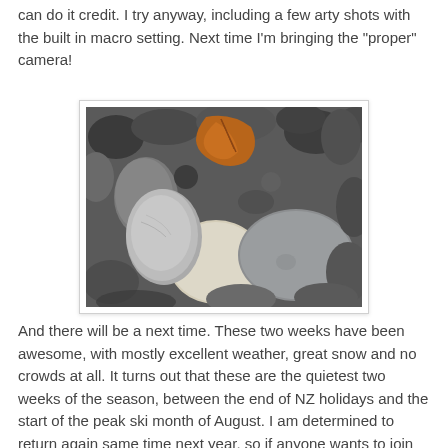can do it credit. I try anyway, including a few arty shots with the built in macro setting. Next time I'm bringing the "proper" camera!
[Figure (photo): Close-up macro photograph of smooth river or beach pebbles/stones in various shades of grey, white, and brown, with a dried leaf visible among them.]
And there will be a next time. These two weeks have been awesome, with mostly excellent weather, great snow and no crowds at all. It turns out that these are the quietest two weeks of the season, between the end of NZ holidays and the start of the peak ski month of August. I am determined to return again same time next year, so if anyone wants to join me, I'm now officially on the lookout for ski buddies for 2010.